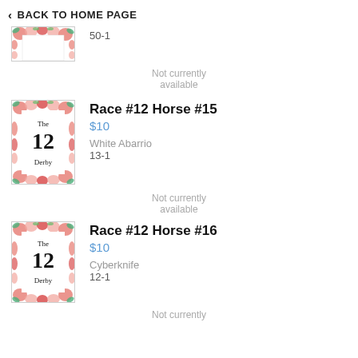BACK TO HOME PAGE
50-1
Not currently available
Race #12 Horse #15
$10
White Abarrio
13-1
Not currently available
Race #12 Horse #16
$10
Cyberknife
12-1
Not currently